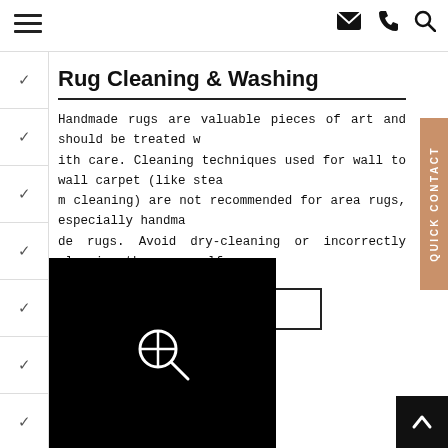Navigation bar with hamburger menu, email, phone, and search icons
Rug Cleaning & Washing
Handmade rugs are valuable pieces of art and should be treated with care. Cleaning techniques used for wall to wall carpet (like steam cleaning) are not recommended for area rugs, especially handmade rugs. Avoid dry-cleaning or incorrectly cleaning them yourself w...
More
[Figure (photo): Black image area with a magnifying glass zoom-in icon in the center]
QUICK CONTACT